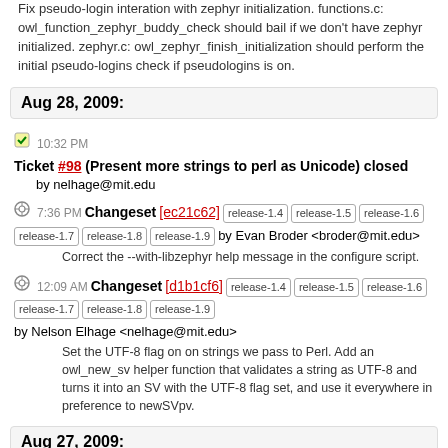Fix pseudo-login interation with zephyr initialization. functions.c: owl_function_zephyr_buddy_check should bail if we don't have zephyr initialized. zephyr.c: owl_zephyr_finish_initialization should perform the initial pseudo-logins check if pseudologins is on.
Aug 28, 2009:
10:32 PM Ticket #98 (Present more strings to perl as Unicode) closed by nelhage@mit.edu
7:36 PM Changeset [ec21c62] release-1.4 release-1.5 release-1.6 release-1.7 release-1.8 release-1.9 by Evan Broder <broder@mit.edu>
Correct the --with-libzephyr help message in the configure script.
12:09 AM Changeset [d1b1cf6] release-1.4 release-1.5 release-1.6 release-1.7 release-1.8 release-1.9 by Nelson Elhage <nelhage@mit.edu>
Set the UTF-8 flag on on strings we pass to Perl. Add an owl_new_sv helper function that validates a string as UTF-8 and turns it into an SV with the UTF-8 flag set, and use it everywhere in preference to newSVpv.
Aug 27, 2009:
1:02 AM Changeset [0571c30] release-1.4 release-1.5 release-1.6 release-1.7 release-1.8 release-1.9 by Anders Kaseorg